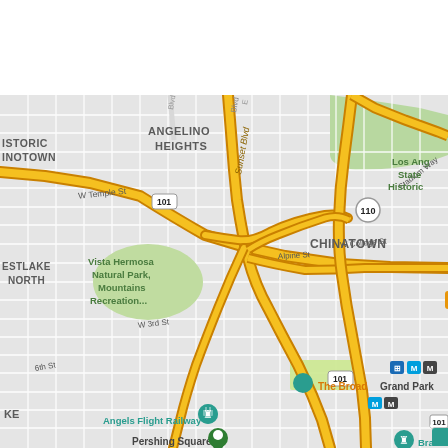[Figure (map): Google Maps view of downtown Los Angeles showing neighborhoods including Angelino Heights, Chinatown, Little Tokyo, Westlake North, and Historic Filipinotown. Major roads shown include Sunset Blvd, W Temple St, Stadium Way, W College St, Alpine St, W 3rd St. Freeways 101 and 110 are visible. Points of interest include Vista Hermosa Natural Park, Philippe The Original, The Music Center, The Broad, Grand Park, Angels Flight Railway, Pershing Square, Bradbury Building, and Japanese American National Museum. Map uses typical Google Maps styling with yellow/gold freeways, light gray streets, and green park areas.]